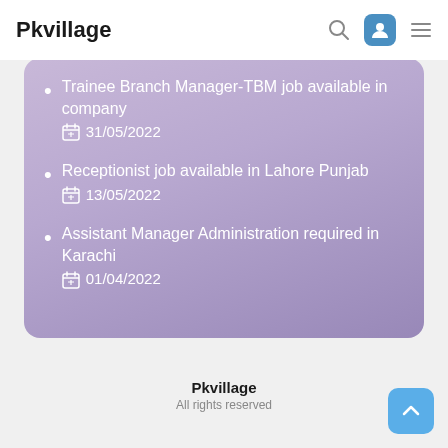Pkvillage
Trainee Branch Manager-TBM job available in company
31/05/2022
Receptionist job available in Lahore Punjab
13/05/2022
Assistant Manager Administration required in Karachi
01/04/2022
Pkvillage
All rights reserved